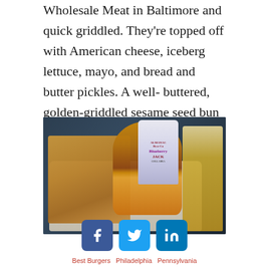Wholesale Meat in Baltimore and quick griddled. They're topped off with American cheese, iceberg lettuce, mayo, and bread and butter pickles. A well-buttered, golden-griddled sesame seed bun holds it all together. Make a reservation at the Salt Line.
[Figure (photo): A double cheeseburger with lettuce and tomato served with a large pile of french fries on a white plate, accompanied by an Almanac Beer Co Blueberry Jack can and a glass of beer in the background, on a dark table.]
[Figure (infographic): Social media share icons: Facebook (blue), Twitter (light blue), LinkedIn (dark blue)]
Best Burgers Philadelphia Pennsylvania